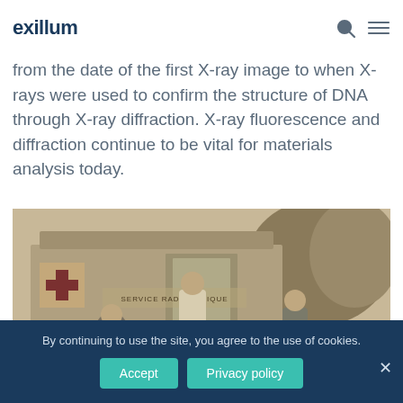excillum
from the date of the first X-ray image to when X-rays were used to confirm the structure of DNA through X-ray diffraction. X-ray fluorescence and diffraction continue to be vital for materials analysis today.
[Figure (photo): Historical sepia photograph of a mobile X-ray unit ('Service Radiologique') with three people standing in front of a vehicle marked with a red cross.]
By continuing to use the site, you agree to the use of cookies.
Accept   Privacy policy